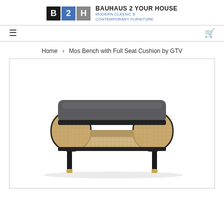BAUHAUS 2 YOUR HOUSE MODERN CLASSIC & CONTEMPORARY FURNITURE
≡   🛒
Home › Mos Bench with Full Seat Cushion by GTV
[Figure (photo): Mos Bench with Full Seat Cushion by GTV — a modern bench with a dark gray upholstered seat cushion, curved wicker/rattan side panels in natural tan, black frame, and brass-tipped legs.]